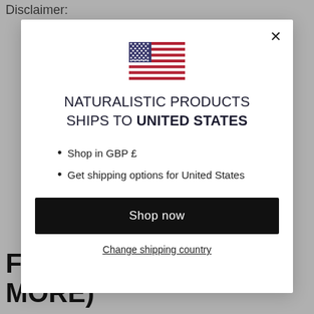Disclaimer:
F
MORE)
[Figure (screenshot): Modal dialog showing US flag, text 'NATURALISTIC PRODUCTS SHIPS TO UNITED STATES', bullet points 'Shop in GBP £' and 'Get shipping options for United States', a 'Shop now' button, and a 'Change shipping country' link.]
NATURALISTIC PRODUCTS SHIPS TO UNITED STATES
Shop in GBP £
Get shipping options for United States
Shop now
Change shipping country